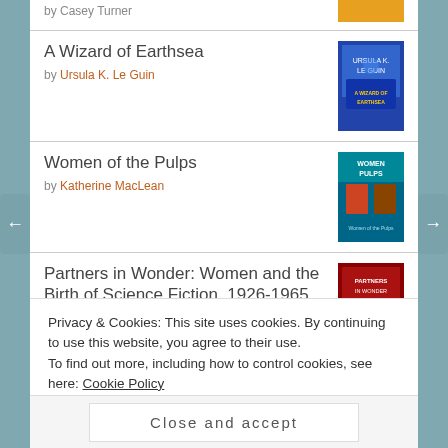by Casey Turner [partial, top]
A Wizard of Earthsea by Ursula K. Le Guin
Women of the Pulps by Katherine MacLean
Partners in Wonder: Women and the Birth of Science Fiction, 1926-1965 by Eric Leif Davin
Against Interpretation and Other Essays [partial]
Privacy & Cookies: This site uses cookies. By continuing to use this website, you agree to their use. To find out more, including how to control cookies, see here: Cookie Policy
Close and accept